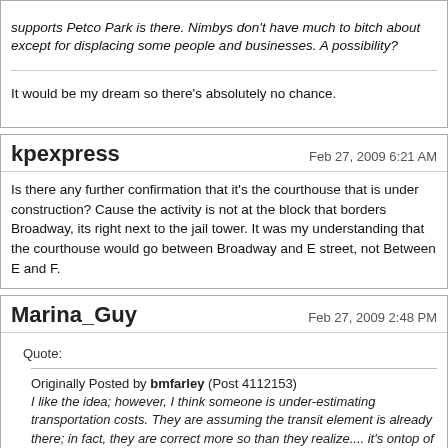supports Petco Park is there. Nimbys don't have much to bitch about except for displacing some people and businesses. A possibility?
It would be my dream so there's absolutely no chance.
kpexpress
Feb 27, 2009 6:21 AM
Is there any further confirmation that it's the courthouse that is under construction? Cause the activity is not at the block that borders Broadway, its right next to the jail tower. It was my understanding that the courthouse would go between Broadway and E street, not Between E and F.
Marina_Guy
Feb 27, 2009 2:48 PM
Quote:
Originally Posted by bmfarley (Post 4112153) I like the idea; however, I think someone is under-estimating transportation costs. They are assuming the transit element is already there; in fact, they are correct more so than they realize.... it's ontop of the very land they are vetting. In other words, the transit infrastructure would need to be relocated at